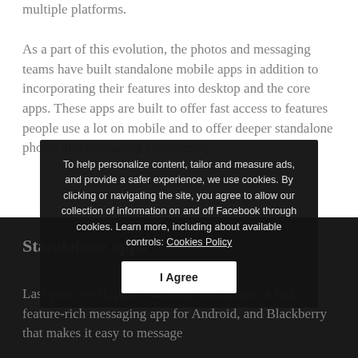multiple platforms.
As a part of this evolution, the photos and messaging teams have built standalone mobile apps in addition to incorporating their features into desktop and the core apps. These apps are built to offer fast access to features people use a lot on mobile and to offer deeper standalone photos and messaging experiences.
Standalone apps
Last year, we shipped Facebook Messenger, a fast, feature-rich messaging app for Android, and Blackberry that makes it easy to message
To help personalize content, tailor and measure ads, and provide a safer experience, we use cookies. By clicking or navigating the site, you agree to allow our collection of information on and off Facebook through cookies. Learn more, including about available controls: Cookies Policy
I Agree